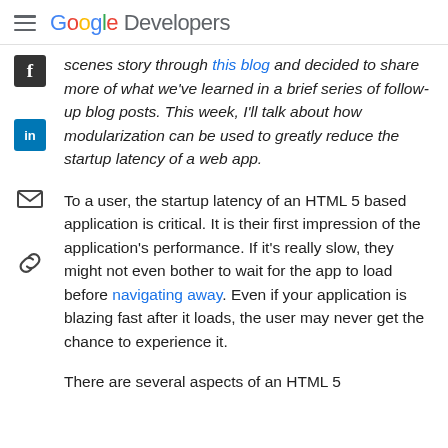Google Developers
scenes story through this blog and decided to share more of what we've learned in a brief series of follow-up blog posts. This week, I'll talk about how modularization can be used to greatly reduce the startup latency of a web app.
To a user, the startup latency of an HTML 5 based application is critical. It is their first impression of the application's performance. If it's really slow, they might not even bother to wait for the app to load before navigating away. Even if your application is blazing fast after it loads, the user may never get the chance to experience it.
There are several aspects of an HTML 5 based application's startup latency...